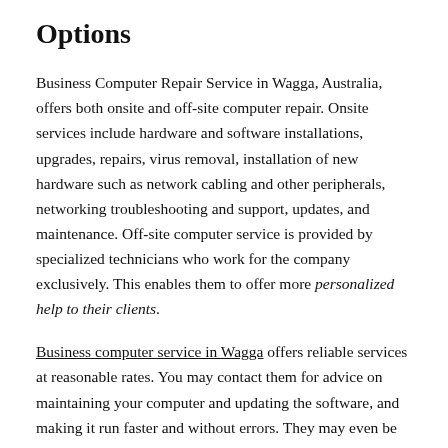Options
Business Computer Repair Service in Wagga, Australia, offers both onsite and off-site computer repair. Onsite services include hardware and software installations, upgrades, repairs, virus removal, installation of new hardware such as network cabling and other peripherals, networking troubleshooting and support, updates, and maintenance. Off-site computer service is provided by specialized technicians who work for the company exclusively. This enables them to offer more personalized help to their clients.
Business computer service in Wagga offers reliable services at reasonable rates. You may contact them for advice on maintaining your computer and updating the software, and making it run faster and without errors. They may even be able to provide